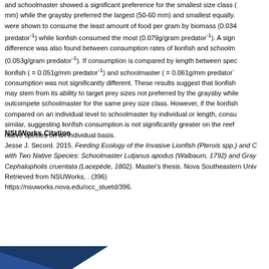and schoolmaster showed a significant preference for the smallest size class (mm) while the graysby preferred the largest (50-60 mm) and smallest equally. were shown to consume the least amount of food per gram by biomass (0.034 predator⁻¹) while lionfish consumed the most (0.079g/gram predator⁻¹). A sign difference was also found between consumption rates of lionfish and schoolm (0.053g/gram predator⁻¹). If consumption is compared by length between spec lionfish ( = 0.051g/mm predator⁻¹) and schoolmaster ( = 0.061g/mm predator⁻ consumption was not significantly different. These results suggest that lionfish may stem from its ability to target prey sizes not preferred by the graysby while outcompete schoolmaster for the same prey size class. However, if the lionfish compared on an individual level to schoolmaster by individual or length, consu similar, suggesting lionfish consumption is not significantly greater on the reef native species on an individual basis.
NSUWorks Citation
Jesse J. Secord. 2015. Feeding Ecology of the Invasive Lionfish (Pterois spp.) and C with Two Native Species: Schoolmaster Lutjanus apodus (Walbaum, 1792) and Gray Cephalopholis cruentata (Lacepède, 1802). Master's thesis. Nova Southeastern Univ Retrieved from NSUWorks, . (396) https://nsuworks.nova.edu/occ_stuetd/396.